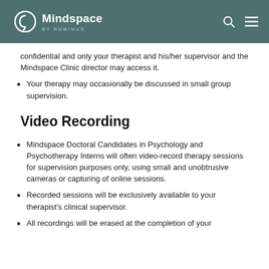Mindspace BY NUMINUS
confidential and only your therapist and his/her supervisor and the Mindspace Clinic director may access it.
Your therapy may occasionally be discussed in small group supervision.
Video Recording
Mindspace Doctoral Candidates in Psychology and Psychotherapy Interns will often video-record therapy sessions for supervision purposes only, using small and unobtrusive cameras or capturing of online sessions.
Recorded sessions will be exclusively available to your therapist's clinical supervisor.
All recordings will be erased at the completion of your